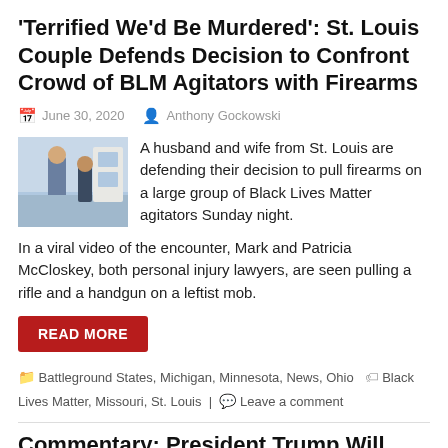'Terrified We'd Be Murdered': St. Louis Couple Defends Decision to Confront Crowd of BLM Agitators with Firearms
June 30, 2020  Anthony Gockowski
[Figure (photo): Two people visible from behind near a building, outdoor scene]
A husband and wife from St. Louis are defending their decision to pull firearms on a large group of Black Lives Matter agitators Sunday night.
In a viral video of the encounter, Mark and Patricia McCloskey, both personal injury lawyers, are seen pulling a rifle and a handgun on a leftist mob.
READ MORE
Battleground States, Michigan, Minnesota, News, Ohio  Black Lives Matter, Missouri, St. Louis  Leave a comment
Commentary: President Trump Will Win If